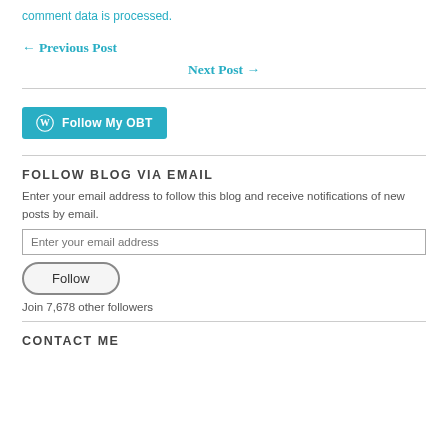comment data is processed.
← Previous Post
Next Post →
[Figure (other): WordPress Follow My OBT button with WordPress logo icon in teal/cyan color]
FOLLOW BLOG VIA EMAIL
Enter your email address to follow this blog and receive notifications of new posts by email.
Enter your email address
Follow
Join 7,678 other followers
CONTACT ME